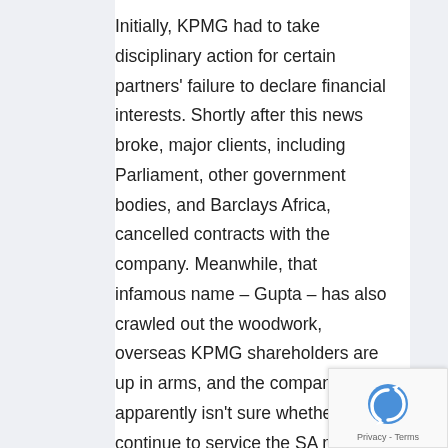Initially, KPMG had to take disciplinary action for certain partners' failure to declare financial interests. Shortly after this news broke, major clients, including Parliament, other government bodies, and Barclays Africa, cancelled contracts with the company. Meanwhile, that infamous name – Gupta – has also crawled out the woodwork, overseas KPMG shareholders are up in arms, and the company apparently isn't sure whether it will continue to service the SA market in future.
KPMG has thus begun a review of work completed over the last year and a half to identify the extent of the problem and
[Figure (logo): reCAPTCHA badge with blue circular arrow logo and 'Privacy - Terms' text]